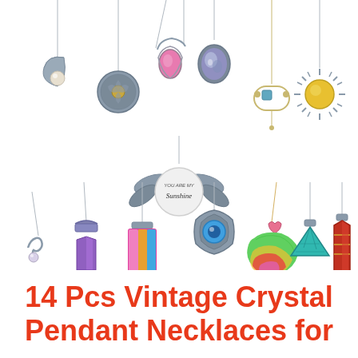[Figure (photo): A collection of 14 vintage crystal pendant necklaces displayed on white background. The necklaces include various styles: crescent moon with pearl, round medallion with floral design, teardrop with pink gemstone, oval with iridescent stone, 'You Are My Sunshine' sunflower locket, geometric art deco piece, sun burst with yellow stone, small snake/dolphin charm, purple amethyst crystal point, colorful rainbow rectangle crystal, peacock feather with blue eye, rainbow druzy stone, turquoise triangle stone, and red jasper hexagonal crystal. All hang on silver or gold chains.]
14 Pcs Vintage Crystal Pendant Necklaces for